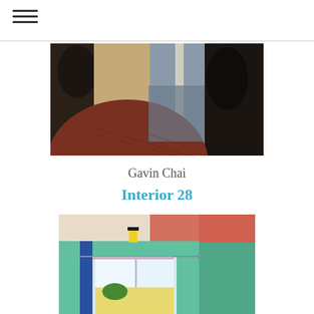[Figure (illustration): Close-up cropped view of a painting showing abstract interior forms with dark charcoal figures, brown curved shape, blue and beige background tones — pastel or oil painting style]
Gavin Chai
Interior 28
[Figure (illustration): Painting of a room interior with teal/green walls, a window with blue frame showing a landscape outside with yellow and blue tones, yellow object on shelf, orange and pink ceiling area — soft pastel style]